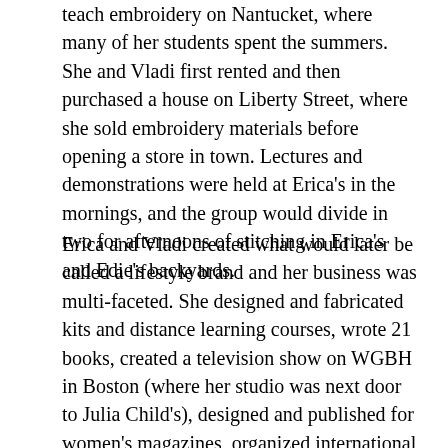teach embroidery on Nantucket, where many of her students spent the summers. She and Vladi first rented and then purchased a house on Liberty Street, where she sold embroidery materials before opening a store in town. Lectures and demonstrations were held at Erica's in the mornings, and the group would divide in two for afternoons of stitching in Erica's and Edie's backyards.
Erica and Vladi created what would later be called a lifestyle brand and her business was multi-faceted. She designed and fabricated kits and distance learning courses, wrote 21 books, created a television show on WGBH in Boston (where her studio was next door to Julia Child's), designed and published for women's magazines, organized international embroidery tours and cruises, undertook many public appearances, and operated another shop on Madison Avenue. Her most lucrative business venture was her contract with Columbia Minerva, signed in 1962 for the then